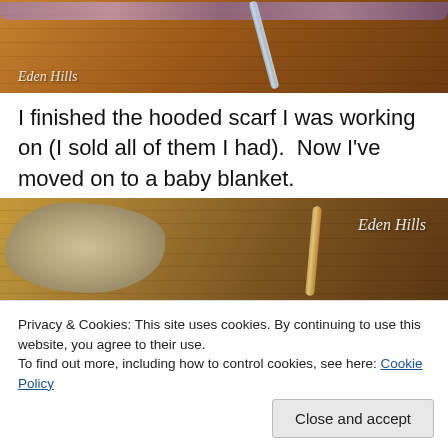[Figure (photo): Close-up photo of colorful yarn and a metallic crochet hook on a wooden surface, with 'Eden Hills' watermark in italic script at bottom left]
I finished the hooded scarf I was working on (I sold all of them I had).  Now I've moved on to a baby blanket.
[Figure (photo): Close-up photo of a crocheted piece (baby blanket in progress) with a wooden crochet hook on a wooden surface, with 'Eden Hills' watermark in italic script at top right]
Privacy & Cookies: This site uses cookies. By continuing to use this website, you agree to their use.
To find out more, including how to control cookies, see here: Cookie Policy